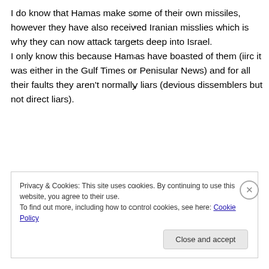I do know that Hamas make some of their own missiles, however they have also received Iranian misslies which is why they can now attack targets deep into Israel.
I only know this because Hamas have boasted of them (iirc it was either in the Gulf Times or Penisular News) and for all their faults they aren't normally liars (devious dissemblers but not direct liars).
Privacy & Cookies: This site uses cookies. By continuing to use this website, you agree to their use.
To find out more, including how to control cookies, see here: Cookie Policy